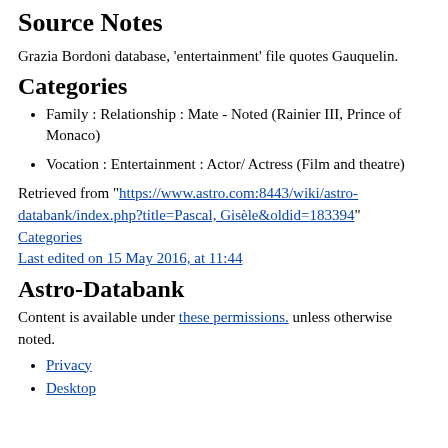Source Notes
Grazia Bordoni database, 'entertainment' file quotes Gauquelin.
Categories
Family : Relationship : Mate - Noted (Rainier III, Prince of Monaco)
Vocation : Entertainment : Actor/ Actress (Film and theatre)
Retrieved from "https://www.astro.com:8443/wiki/astro-databank/index.php?title=Pascal,_Gisèle&oldid=183394" Categories
Last edited on 15 May 2016, at 11:44
Astro-Databank
Content is available under these permissions. unless otherwise noted.
Privacy
Desktop